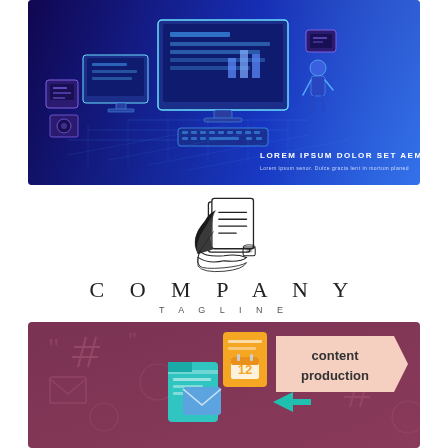[Figure (illustration): Blue gradient banner with isometric illustration of computer workstation, monitors, keyboard, and tech devices. Text overlay: 'LOREM IPSUM DOLOR SET AEMET ELIT CONSECTETUR' with subtitle 'Lorem ipsum senor. Dulce gracia lent in mortum planed']
[Figure (logo): Company logo: line-art drawing of a scroll/document with quill pen and inkwell, above the text 'COMPANY' in wide-spaced serif capitals, with 'TAGLINE' in smaller spaced sans-serif below]
[Figure (illustration): Mauve/rose-toned banner with isometric social media and content icons (speech bubbles, calendars, hashtags, envelopes) and a 'content production' label in a peach arrow/ribbon shape on the right]